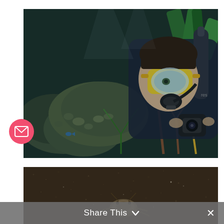[Figure (photo): Scuba diver with yellow mask and wetsuit photographing coral reef underwater. The diver is holding a camera and is surrounded by colorful coral formations including brown branching coral and green seaweed. The scene is underwater with blue ambient light.]
[Figure (photo): Close-up underwater photo of what appears to be a small marine creature (possibly a crab or small animal) on sandy/rocky substrate. The background is dark brown/grey sandy ocean floor with small speckles.]
Share This ∨